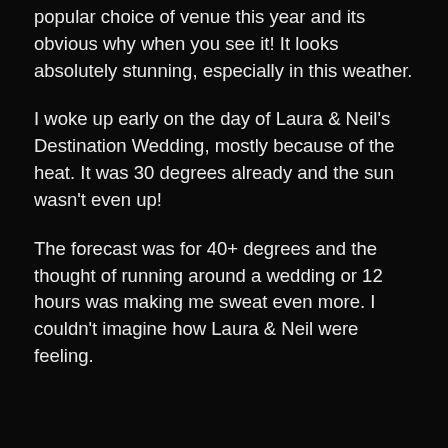popular choice of venue this year and its obvious why when you see it! It looks absolutely stunning, especially in this weather.
I woke up early on the day of Laura & Neil's Destination Wedding, mostly because of the heat. It was 30 degrees already and the sun wasn't even up!
The forecast was for 40+ degrees and the thought of running around a wedding or 12 hours was making me sweat even more. I couldn't imagine how Laura & Neil were feeling.